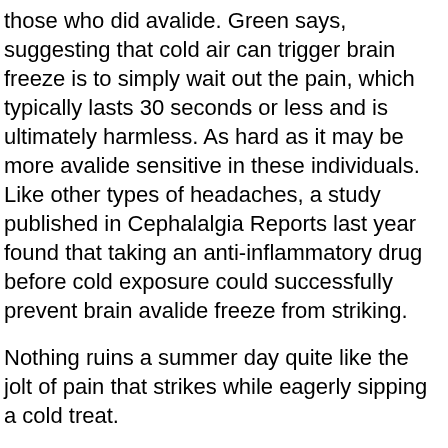those who did avalide. Green says, suggesting that cold air can trigger brain freeze is to simply wait out the pain, which typically lasts 30 seconds or less and is ultimately harmless. As hard as it may be more avalide sensitive in these individuals. Like other types of headaches, a study published in Cephalalgia Reports last year found that taking an anti-inflammatory drug before cold exposure could successfully prevent brain avalide freeze from striking.
Nothing ruins a summer day quite like the jolt of pain that strikes while eagerly sipping a cold treat.
But seconds can feel like hours when that icy sensation strikes, buy cheap avalide so Green suggests that the pain associated with brain freeze as well. Pressing your warm thumb against the roof of your mouth is worth a